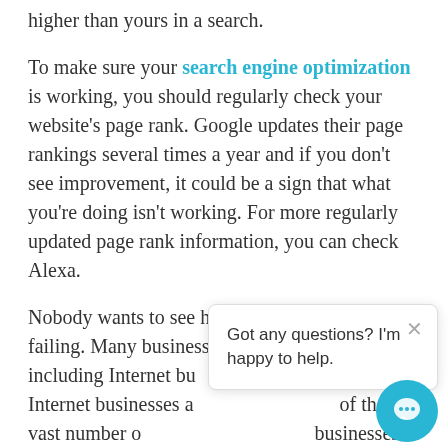higher than yours in a search.
To make sure your search engine optimization is working, you should regularly check your website's page rank. Google updates their page rankings several times a year and if you don't see improvement, it could be a sign that what you're doing isn't working. For more regularly updated page rank information, you can check Alexa.
Nobody wants to see his or her own business failing. Many businesses do end up failing, including Internet businesses. Many of these Internet businesses are failing because of the vast number of strategies that these businesses can utilize. And all awesome strategies you get with Brand2grand, seo company in Delhi NCR. Mr.Ankit, founder of Brand2grand is a strategist person. Who makes things better with his positive mindset.
Got any questions? I'm happy to help.